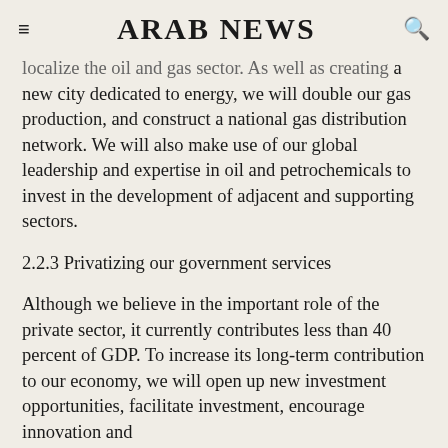ARAB NEWS
localize the oil and gas sector. As well as creating a new city dedicated to energy, we will double our gas production, and construct a national gas distribution network. We will also make use of our global leadership and expertise in oil and petrochemicals to invest in the development of adjacent and supporting sectors.
2.2.3 Privatizing our government services
Although we believe in the important role of the private sector, it currently contributes less than 40 percent of GDP. To increase its long-term contribution to our economy, we will open up new investment opportunities, facilitate investment, encourage innovation and